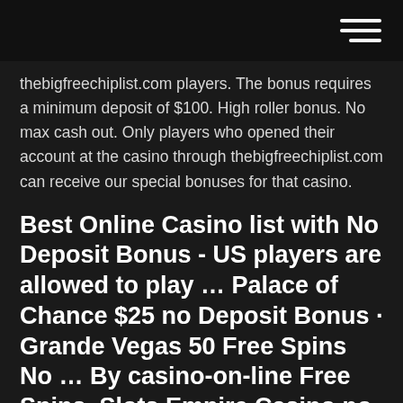thebigfreechiplist.com players. The bonus requires a minimum deposit of $100. High roller bonus. No max cash out. Only players who opened their account at the casino through thebigfreechiplist.com can receive our special bonuses for that casino.
Best Online Casino list with No Deposit Bonus - US players are allowed to play … Palace of Chance $25 no Deposit Bonus · Grande Vegas 50 Free Spins No … By casino-on-line Free Spins, Slots Empire Casino no deposit